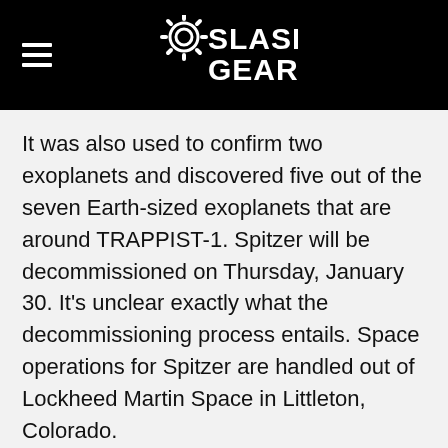SlashGear
It was also used to confirm two exoplanets and discovered five out of the seven Earth-sized exoplanets that are around TRAPPIST-1. Spitzer will be decommissioned on Thursday, January 30. It's unclear exactly what the decommissioning process entails. Space operations for Spitzer are handled out of Lockheed Martin Space in Littleton, Colorado.